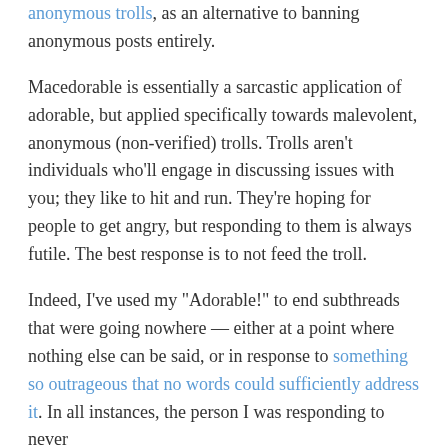anonymous trolls, as an alternative to banning anonymous posts entirely.
Macedorable is essentially a sarcastic application of adorable, but applied specifically towards malevolent, anonymous (non-verified) trolls. Trolls aren't individuals who'll engage in discussing issues with you; they like to hit and run. They're hoping for people to get angry, but responding to them is always futile. The best response is to not feed the troll.
Indeed, I've used my "Adorable!" to end subthreads that were going nowhere — either at a point where nothing else can be said, or in response to something so outrageous that no words could sufficiently address it. In all instances, the person I was responding to never